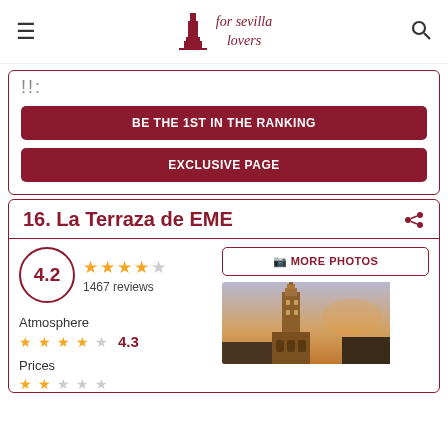for sevilla lovers
!!
BE THE 1ST IN THE RANKING
EXCLUSIVE PAGE
16. La Terraza de EME
4.2
1467 reviews
Atmosphere
4.3
Prices
[Figure (photo): Photo of Giralda tower in Seville at dusk/sunset with warm orange sky]
MORE PHOTOS